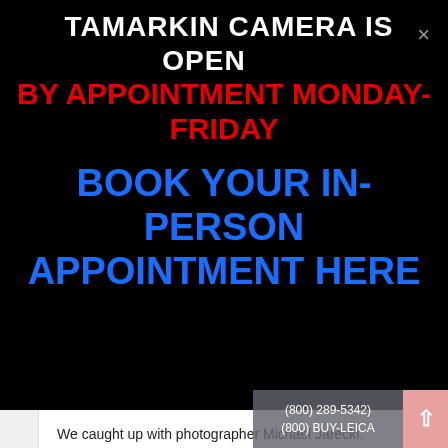TAMARKIN CAMERA IS OPEN
BY APPOINTMENT MONDAY-FRIDAY
BOOK YOUR IN-PERSON APPOINTMENT HERE
We caught up with photographer Michael Jarecki.
Read more
« first
‹ previous
1
2
(800) 289-5342) (800) BUY-LEICA